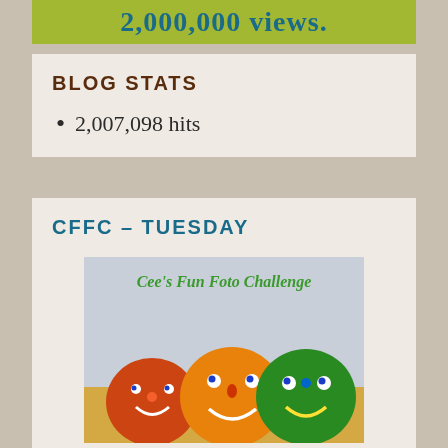[Figure (other): Yellow-green banner showing '2,000,000 views.' in large blue bold text on olive/chartreuse background]
BLOG STATS
2,007,098 hits
CFFC – TUESDAY
[Figure (illustration): Cee's Fun Foto Challenge promotional image showing colorful painted smiley-face hay bales with text 'Cee's Fun Foto Challenge' at the top]
CFFC challenge runs weekly on Tuesday.